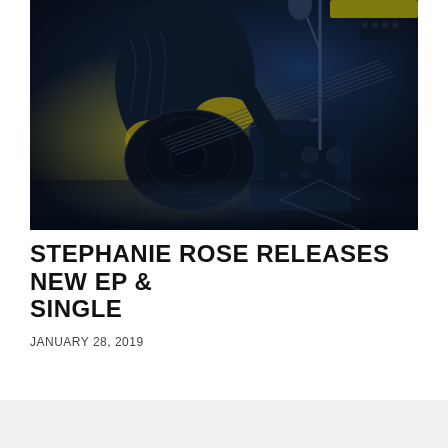[Figure (photo): Concert photo of a guitarist playing a black acoustic guitar on stage, with dramatic blue and yellow lighting effects. The performer is wearing a leather jacket and is positioned in front of a microphone stand.]
STEPHANIE ROSE RELEASES NEW EP & SINGLE
JANUARY 28, 2019